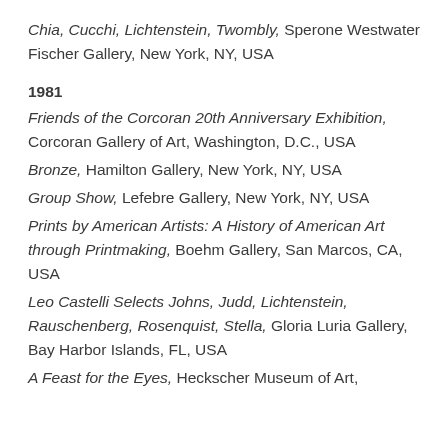Chia, Cucchi, Lichtenstein, Twombly, Sperone Westwater Fischer Gallery, New York, NY, USA
1981
Friends of the Corcoran 20th Anniversary Exhibition, Corcoran Gallery of Art, Washington, D.C., USA
Bronze, Hamilton Gallery, New York, NY, USA
Group Show, Lefebre Gallery, New York, NY, USA
Prints by American Artists: A History of American Art through Printmaking, Boehm Gallery, San Marcos, CA, USA
Leo Castelli Selects Johns, Judd, Lichtenstein, Rauschenberg, Rosenquist, Stella, Gloria Luria Gallery, Bay Harbor Islands, FL, USA
A Feast for the Eyes, Heckscher Museum of Art,